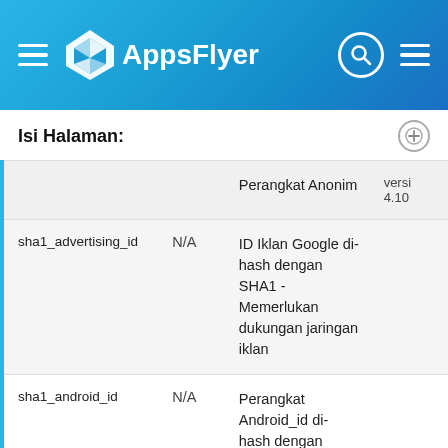[Figure (logo): AppsFlyer navigation header with hamburger menu, AppsFlyer logo, search icon, and menu icon on blue gradient background]
Isi Halaman:
|  |  |  |  |
| --- | --- | --- | --- |
|  |  | Perangkat Anonim | versi 4.10 |
| sha1_advertising_id | N/A | ID Iklan Google di-hash dengan SHA1 - Memerlukan dukungan jaringan iklan |  |
| sha1_android_id | N/A | Perangkat Android_id di-hash dengan SHA1 - Memerlukan |  |